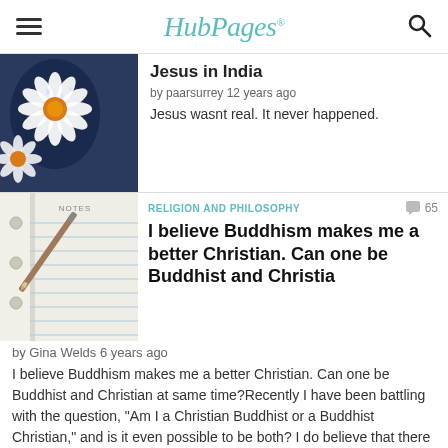HubPages
Jesus in India
by paarsurrey 12 years ago
Jesus wasnt real. It never happened.
RELIGION AND PHILOSOPHY
65
I believe Buddhism makes me a better Christian. Can one be Buddhist and Christia
by Gina Welds 6 years ago
I believe Buddhism makes me a better Christian. Can one be Buddhist and Christian at same time?Recently I have been battling with the question, "Am I a Christian Buddhist or a Buddhist Christian," and is it even possible to be both?  I do believe that there are principles about...